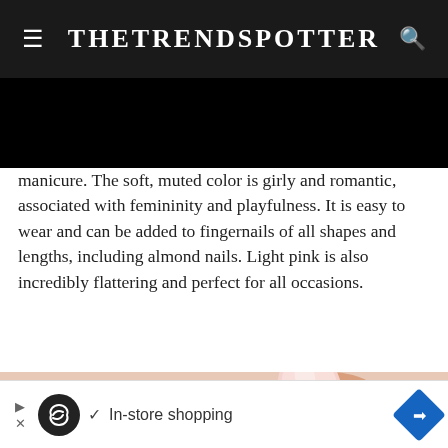TheTrendSpotter
manicure. The soft, muted color is girly and romantic, associated with femininity and playfulness. It is easy to wear and can be added to fingernails of all shapes and lengths, including almond nails. Light pink is also incredibly flattering and perfect for all occasions.
[Figure (photo): Close-up photo of a hand with light pink almond-shaped nails against a white background]
[Figure (screenshot): Advertisement banner showing 'In-store shopping' with a circular infinity-loop logo and blue diamond arrow icon]